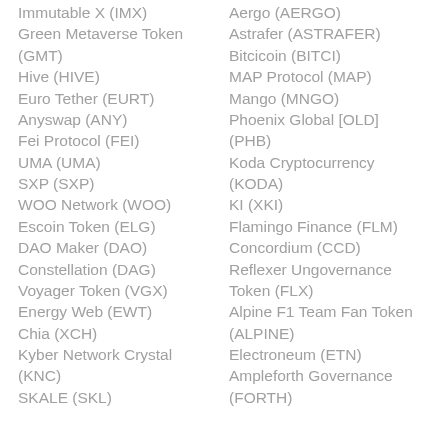Immutable X (IMX)
Green Metaverse Token (GMT)
Hive (HIVE)
Euro Tether (EURT)
Anyswap (ANY)
Fei Protocol (FEI)
UMA (UMA)
SXP (SXP)
WOO Network (WOO)
Escoin Token (ELG)
DAO Maker (DAO)
Constellation (DAG)
Voyager Token (VGX)
Energy Web (EWT)
Chia (XCH)
Kyber Network Crystal (KNC)
SKALE (SKL)
Aergo (AERGO)
Astrafer (ASTRAFER)
Bitcicoin (BITCI)
MAP Protocol (MAP)
Mango (MNGO)
Phoenix Global [OLD] (PHB)
Koda Cryptocurrency (KODA)
KI (XKI)
Flamingo Finance (FLM)
Concordium (CCD)
Reflexer Ungovernance Token (FLX)
Alpine F1 Team Fan Token (ALPINE)
Electroneum (ETN)
Ampleforth Governance (FORTH)